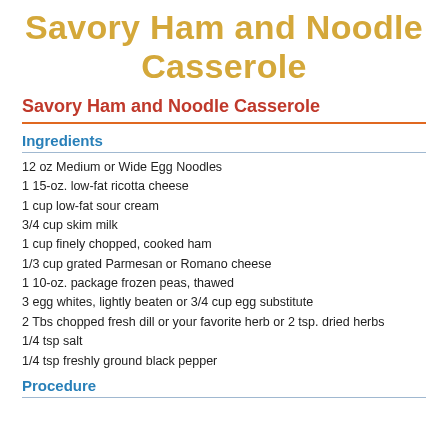Savory Ham and Noodle Casserole
Savory Ham and Noodle Casserole
Ingredients
12 oz Medium or Wide Egg Noodles
1 15-oz. low-fat ricotta cheese
1 cup low-fat sour cream
3/4 cup skim milk
1 cup finely chopped, cooked ham
1/3 cup grated Parmesan or Romano cheese
1 10-oz. package frozen peas, thawed
3 egg whites, lightly beaten or 3/4 cup egg substitute
2 Tbs chopped fresh dill or your favorite herb or 2 tsp. dried herbs
1/4 tsp salt
1/4 tsp freshly ground black pepper
Procedure